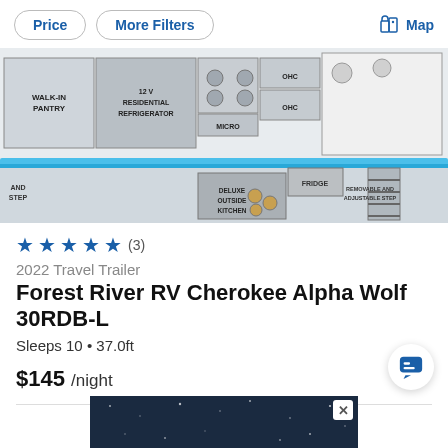Price | More Filters | Map
[Figure (schematic): RV floorplan diagram showing walk-in pantry, 12V residential refrigerator, micro, OHC, deluxe outside kitchen, fridge, removable and adjustable step, and step.]
★★★★★ (3)
2022 Travel Trailer
Forest River RV Cherokee Alpha Wolf 30RDB-L
Sleeps 10 • 37.0ft
$145 /night
[Figure (photo): Advertisement banner with dark starry sky background and close button (X).]